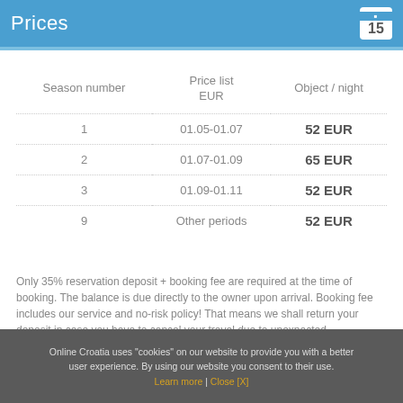Prices
| Season number | Price list EUR | Object / night |
| --- | --- | --- |
| 1 | 01.05-01.07 | 52 EUR |
| 2 | 01.07-01.09 | 65 EUR |
| 3 | 01.09-01.11 | 52 EUR |
| 9 | Other periods | 52 EUR |
Only 35% reservation deposit + booking fee are required at the time of booking. The balance is due directly to the owner upon arrival. Booking fee includes our service and no-risk policy! That means we shall return your deposit in case you have to cancel your travel due to unexpected circumstances! + more
Online Croatia uses "cookies" on our website to provide you with a better user experience. By using our website you consent to their use. Learn more | Close [X]